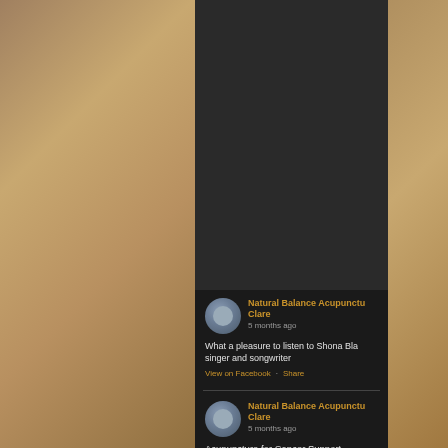[Figure (screenshot): Mobile phone screenshot showing a Facebook-style feed page for Natural Balance Acupuncture Clare, with two posts on a dark background, surrounded by sandy beach background]
Natural Balance Acupuncture Clare
5 months ago
What a pleasure to listen to Shona Bla... singer and songwriter
View on Facebook · Share
Natural Balance Acupuncture Clare
5 months ago
Acupuncture for Cancer Support
See how Acupuncture is used in Ireland cancer treatment.